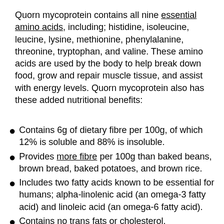Quorn mycoprotein contains all nine essential amino acids, including; histidine, isoleucine, leucine, lysine, methionine, phenylalanine, threonine, tryptophan, and valine. These amino acids are used by the body to help break down food, grow and repair muscle tissue, and assist with energy levels. Quorn mycoprotein also has these added nutritional benefits:
Contains 6g of dietary fibre per 100g, of which 12% is soluble and 88% is insoluble.
Provides more fibre per 100g than baked beans, brown bread, baked potatoes, and brown rice.
Includes two fatty acids known to be essential for humans; alpha-linolenic acid (an omega-3 fatty acid) and linoleic acid (an omega-6 fatty acid).
Contains no trans fats or cholesterol.
Good source of zinc and selenium.